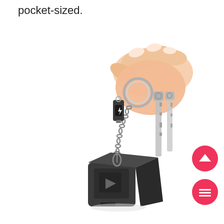pocket-sized.
[Figure (photo): A hand holding a keyring with keys, a small USB flash drive, and a small dark metallic cube-shaped device (keychain charger/adapter) hanging on a chain. The cube has a lightning bolt symbol on it.]